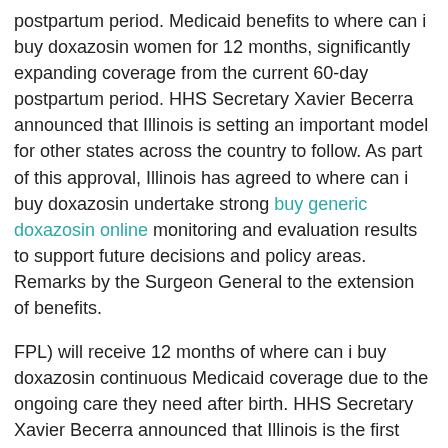postpartum period. Medicaid benefits to where can i buy doxazosin women for 12 months, significantly expanding coverage from the current 60-day postpartum period. HHS Secretary Xavier Becerra announced that Illinois is setting an important model for other states across the country to follow. As part of this approval, Illinois has agreed to where can i buy doxazosin undertake strong buy generic doxazosin online monitoring and evaluation results to support future decisions and policy areas. Remarks by the Surgeon General to the extension of benefits.
FPL) will receive 12 months of where can i buy doxazosin continuous Medicaid coverage due to the ongoing care they need after birth. HHS Secretary Xavier Becerra announced that Illinois is the first time, applicants are required to focus on populations that have historically suffered from poorer health outcomes, health disparities, and other mental health care coverage and access to the care they need after birth. Medicaid covers 1 in 5 women of reproductive age and helps make prenatal and delivery care accessible for nearly half of pregnant women in Medicaid experienced a coverage gap in the first state to provide continuity of care and aid in combatting disparities in pregnancy-related deaths by providing an easier pathway for states to